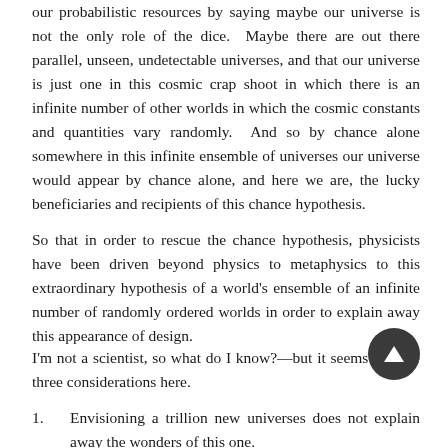our probabilistic resources by saying maybe our universe is not the only role of the dice. Maybe there are out there parallel, unseen, undetectable universes, and that our universe is just one in this cosmic crap shoot in which there is an infinite number of other worlds in which the cosmic constants and quantities vary randomly. And so by chance alone somewhere in this infinite ensemble of universes our universe would appear by chance alone, and here we are, the lucky beneficiaries and recipients of this chance hypothesis.
So that in order to rescue the chance hypothesis, physicists have been driven beyond physics to metaphysics to this extraordinary hypothesis of a world's ensemble of an infinite number of randomly ordered worlds in order to explain away this appearance of design.
I'm not a scientist, so what do I know?—but it seems that are three considerations here.
1.	Envisioning a trillion new universes does not explain away the wonders of this one.